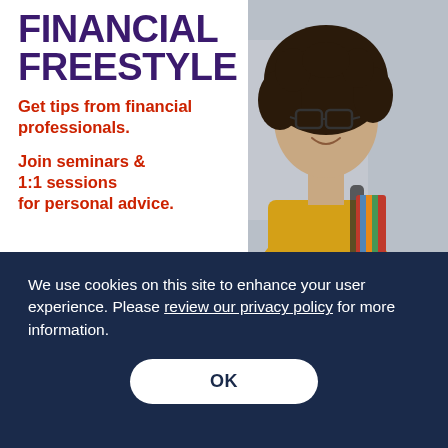FINANCIAL FREESTYLE
Get tips from financial professionals.
Join seminars & 1:1 sessions for personal advice.
[Figure (photo): Young woman with curly hair and glasses, wearing a yellow shirt, carrying a backpack and red binder folders, smiling upward outdoors]
We use cookies on this site to enhance your user experience. Please review our privacy policy for more information.
OK